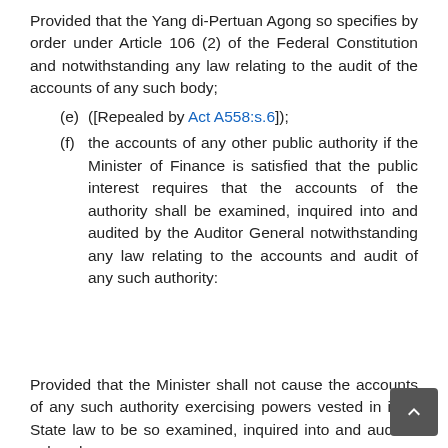Provided that the Yang di-Pertuan Agong so specifies by order under Article 106 (2) of the Federal Constitution and notwithstanding any law relating to the audit of the accounts of any such body;
(e) ([Repealed by Act A558:s.6]);
(f) the accounts of any other public authority if the Minister of Finance is satisfied that the public interest requires that the accounts of the authority shall be examined, inquired into and audited by the Auditor General notwithstanding any law relating to the accounts and audit of any such authority:
Provided that the Minister shall not cause the accounts of any such authority exercising powers vested in it by State law to be so examined, inquired into and audited unless he